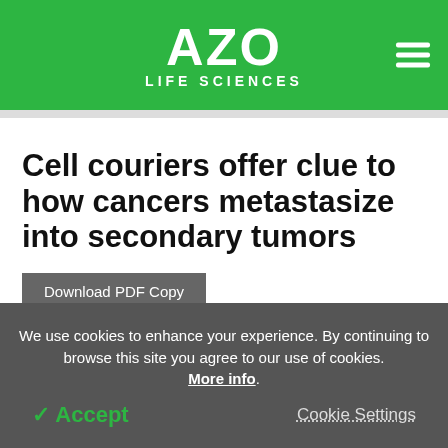AZO LIFE SCIENCES
Cell couriers offer clue to how cancers metastasize into secondary tumors
Download PDF Copy
We use cookies to enhance your experience. By continuing to browse this site you agree to our use of cookies. More info.
✓ Accept
Cookie Settings